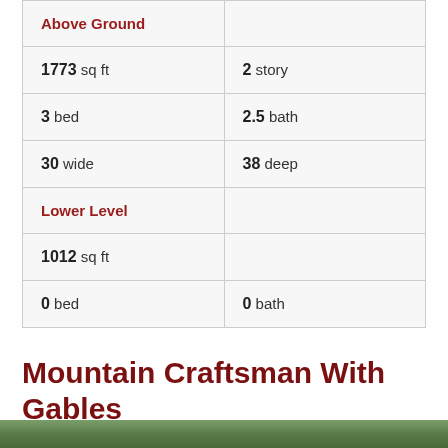| Above Ground |  |
| 1773 sq ft | 2 story |
| 3 bed | 2.5 bath |
| 30 wide | 38 deep |
| Lower Level |  |
| 1012 sq ft |  |
| 0 bed | 0 bath |
Mountain Craftsman With Gables
[Figure (photo): Exterior photo of Mountain Craftsman With Gables house, trees visible]